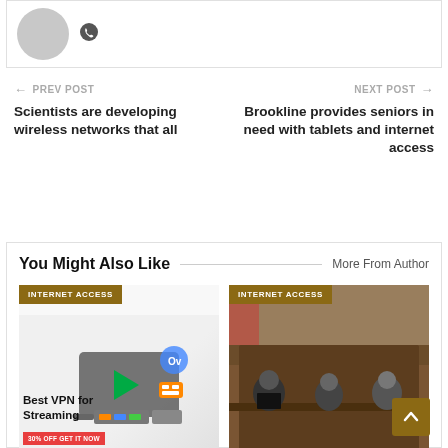[Figure (photo): Top card with gray avatar circle and phone icon]
← PREV POST
Scientists are developing wireless networks that all
NEXT POST →
Brookline provides seniors in need with tablets and internet access
You Might Also Like
More From Author
[Figure (photo): Internet Access article card: Best VPN for Streaming with promotional graphic]
[Figure (photo): Internet Access article card: photo of people at a government/council meeting]